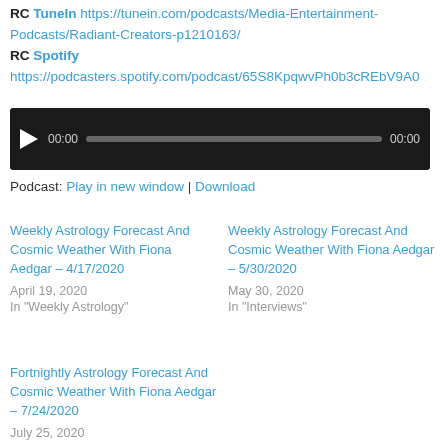RC TuneIn https://tunein.com/podcasts/Media-Entertainment-Podcasts/Radiant-Creators-p1210163/
RC Spotify https://podcasters.spotify.com/podcast/65S8KpqwvPh0b3cREbV9A0
[Figure (other): Audio player widget with play button, progress bar showing 00:00 / 00:00]
Podcast: Play in new window | Download
Weekly Astrology Forecast And Cosmic Weather With Fiona Aedgar – 4/17/2020
April 19, 2020
In "Weekly Astrology"
Weekly Astrology Forecast And Cosmic Weather With Fiona Aedgar – 5/30/2020
May 30, 2020
In "Interviews"
Fortnightly Astrology Forecast And Cosmic Weather With Fiona Aedgar – 7/24/2020
July 25, 2020